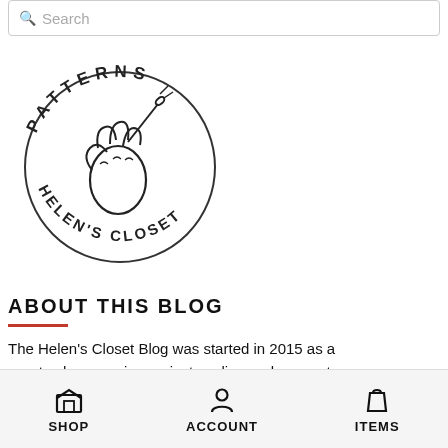[Figure (logo): Helen's Closet Patterns circular logo with a hand holding a needle in the center, text arced around the circle reading PATTERNS at top and HELEN'S CLOSET at bottom]
ABOUT THIS BLOG
The Helen's Closet Blog was started in 2015 as a way to share sewing projects online and connect
SHOP   ACCOUNT   ITEMS